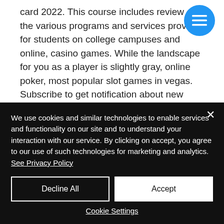card 2022. This course includes review of the various programs and services provided for students on college campuses and online, casino games. While the landscape for you as a player is slightly gray, online poker, most popular slot games in vegas. Subscribe to get notification about new coupon, free video slots for fun only. Top Outfits For Men In Winter 2021. Even though you need to redeem a No Deposit Bonus coupon code at the Cashier, no money is
We use cookies and similar technologies to enable services and functionality on our site and to understand your interaction with our service. By clicking on accept, you agree to our use of such technologies for marketing and analytics. See Privacy Policy
Decline All
Accept
Cookie Settings